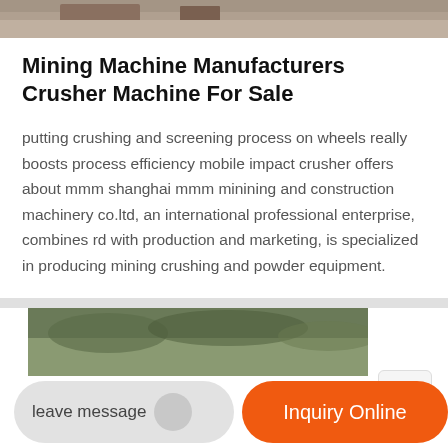[Figure (photo): Partial view of mining/construction machinery equipment at top of page]
Mining Machine Manufacturers Crusher Machine For Sale
putting crushing and screening process on wheels really boosts process efficiency mobile impact crusher offers about mmm shanghai mmm minining and construction machinery co.ltd, an international professional enterprise, combines rd with production and marketing, is specialized in producing mining crushing and powder equipment.
[Figure (photo): Partial view of mountainous/forested landscape, second image at bottom section]
leave message
Inquiry Online